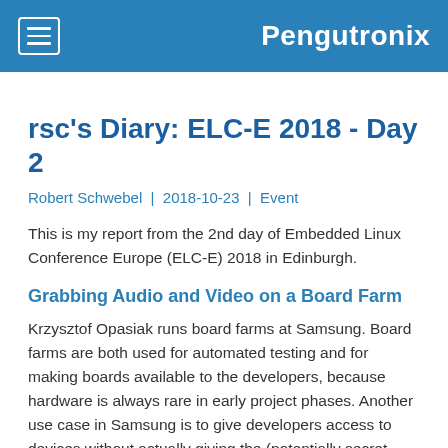Pengutronix
rsc's Diary: ELC-E 2018 - Day 2
Robert Schwebel | 2018-10-23 | Event
This is my report from the 2nd day of Embedded Linux Conference Europe (ELC-E) 2018 in Edinburgh.
Grabbing Audio and Video on a Board Farm
Krzysztof Opasiak runs board farms at Samsung. Board farms are both used for automated testing and for making boards available to the developers, because hardware is always rare in early project phases. Another use case in Samsung is to give developers access to devices without actually giving the (potentially secret prototypes!) new devices to them physically and maybe shipping boards around the world. He found that running board farms is almost like running a server room so